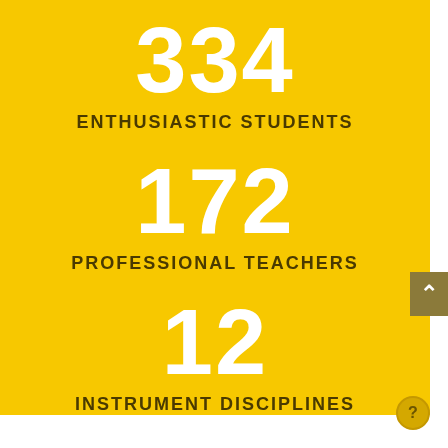334
ENTHUSIASTIC STUDENTS
172
PROFESSIONAL TEACHERS
12
INSTRUMENT DISCIPLINES